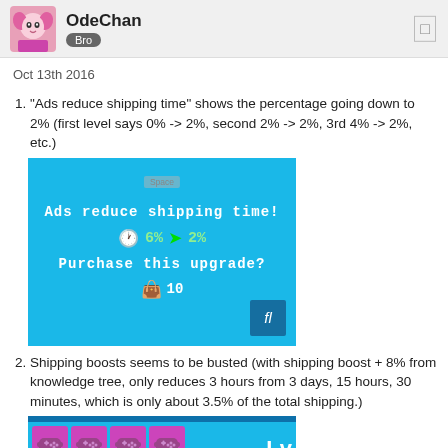OdeChan Bro
Oct 13th 2016
"Ads reduce shipping time" shows the percentage going down to 2% (first level says 0% -> 2%, second 2% -> 2%, 3rd 4% -> 2%, etc.)
[Figure (screenshot): Game screenshot showing 'Ads reduce shipping time!' upgrade dialog with clock icon, 6% -> 2% percentage change in green, 'Purchase this upgrade?' text, and cost of 10 gems.]
Shipping boosts seems to be busted (with shipping boost + 8% from knowledge tree, only reduces 3 hours from 3 days, 15 hours, 30 minutes, which is only about 3.5% of the total shipping.)
[Figure (screenshot): Game screenshot showing shipping boosts interface with purple game controller icons and 'Lv' text.]